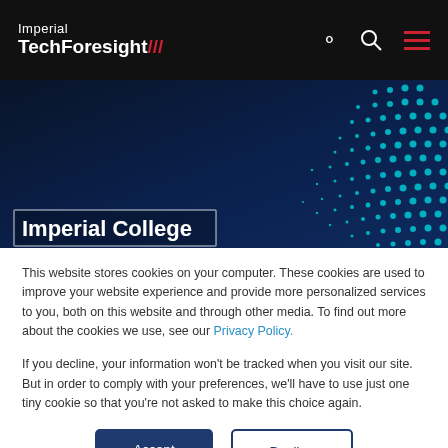Imperial TechForesight ///
[Figure (illustration): Dark navy blue hero banner with teal/cyan dot matrix pattern dispersed across the right side, suggesting a digital/technology theme. Bottom-left shows a partial title box with white border.]
Imperial College
This website stores cookies on your computer. These cookies are used to improve your website experience and provide more personalized services to you, both on this website and through other media. To find out more about the cookies we use, see our Privacy Policy.
If you decline, your information won't be tracked when you visit our site. But in order to comply with your preferences, we'll have to use just one tiny cookie so that you're not asked to make this choice again.